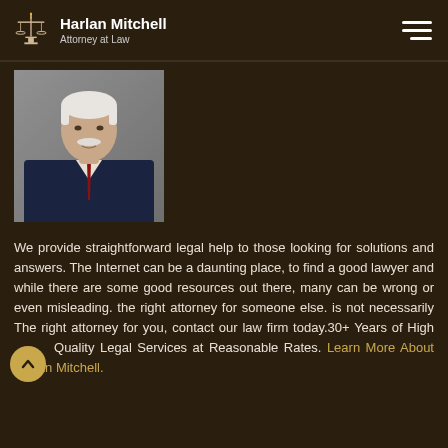Harlan Mitchell — Attorney at Law
[Figure (photo): Professional headshot of an older man with white hair and mustache, wearing a dark navy suit and red striped tie, against a grey background.]
We provide straightforward legal help to those looking for solutions and answers. The Internet can be a daunting place, to find a good lawyer and while there are some good resources out there, many can be wrong or even misleading. the right attorney for someone else. is not necessarily The right attorney for you, contact our law firm today.30+ Years of High Quality Legal Services at Reasonable Rates. Learn More About Harlan Mitchell.